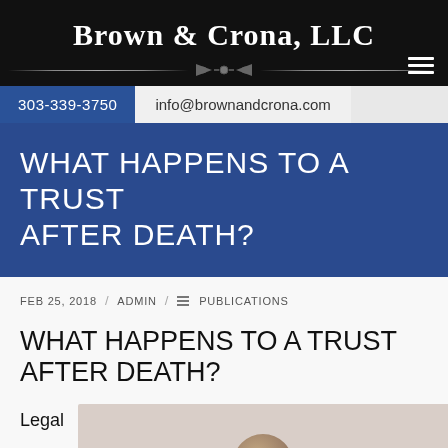Brown & Crona, LLC
303-339-3750   info@brownandcrona.com
WHAT HAPPENS TO A TRUST AFTER DEATH?
FEB 25, 2018 / ADMIN / PUBLICATIONS
WHAT HAPPENS TO A TRUST AFTER DEATH?
Legal